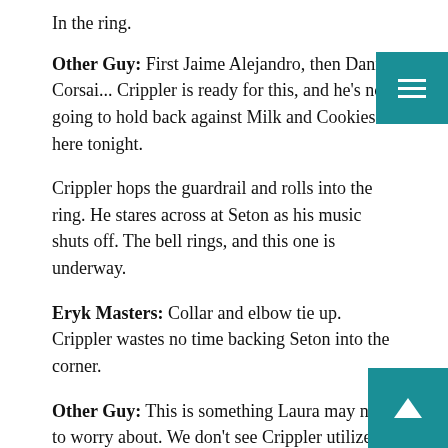In the ring.
Other Guy: First Jaime Alejandro, then Danny Corsai... Crippler is ready for this, and he's not going to hold back against Milk and Cookies here tonight.
Crippler hops the guardrail and rolls into the ring. He stares across at Seton as his music shuts off. The bell rings, and this one is underway.
Eryk Masters: Collar and elbow tie up. Crippler wastes no time backing Seton into the corner.
Other Guy: This is something Laura may need to worry about. We don't see Crippler utilize a power game very often, but he definately has her on size, and that could be a factor here.
Crippler has Seton pressed against the corner, with Austin Linam trying to get him to release her. Crippler